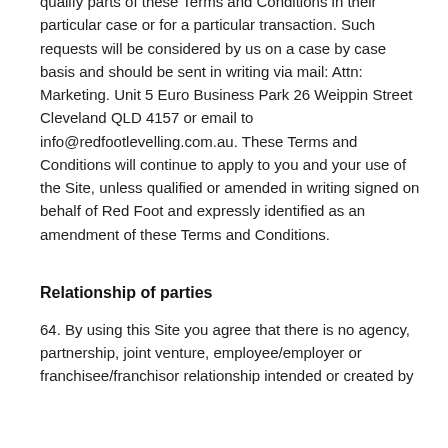qualify parts of these Terms and Conditions in their particular case or for a particular transaction. Such requests will be considered by us on a case by case basis and should be sent in writing via mail: Attn: Marketing. Unit 5 Euro Business Park 26 Weippin Street Cleveland QLD 4157 or email to info@redfootlevelling.com.au. These Terms and Conditions will continue to apply to you and your use of the Site, unless qualified or amended in writing signed on behalf of Red Foot and expressly identified as an amendment of these Terms and Conditions.
Relationship of parties
64. By using this Site you agree that there is no agency, partnership, joint venture, employee/employer or franchisee/franchisor relationship intended or created by